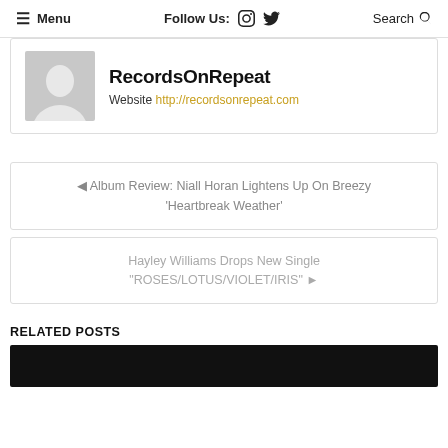Menu  Follow Us:  [instagram] [twitter]  Search
[Figure (other): Author profile card with default avatar silhouette, name 'RecordsOnRepeat', and website link http://recordsonrepeat.com]
◄ Album Review: Niall Horan Lightens Up On Breezy 'Heartbreak Weather'
Hayley Williams Drops New Single "ROSES/LOTUS/VIOLET/IRIS" ►
RELATED POSTS
[Figure (photo): Black image strip (related post thumbnail)]